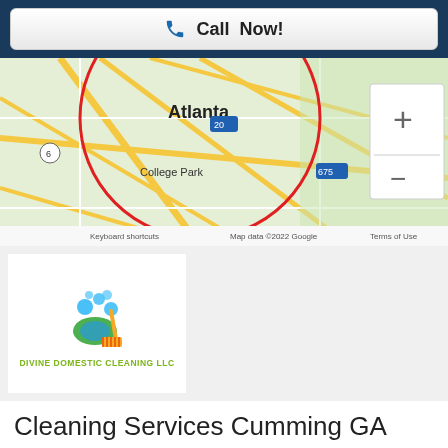Call Now!
[Figure (map): Google Map showing Atlanta area with red circle overlay, showing College Park, Conyers, Covington, and Monroe. Includes zoom controls and Google attribution. Map data ©2022 Google. Terms of Use.]
[Figure (logo): Divine Domestic Cleaning LLC logo - cleaning supplies illustration with blue bubbles and yellow mop, with green text below reading DIVINE DOMESTIC CLEANING LLC]
Cleaning Services Cumming GA
Divine Domestic Cleaning LLC
Cumming